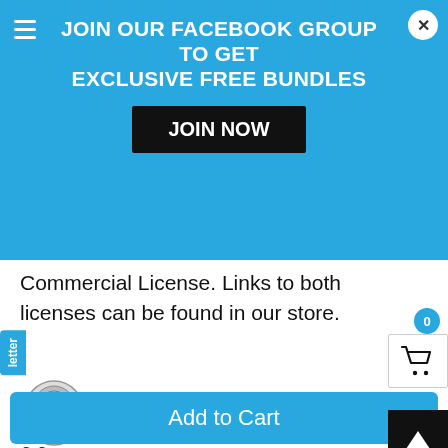[Figure (screenshot): Blue Facebook group promotional banner overlay with JOIN NOW button and close X button]
etc.) then you will need a Commercial License. If you would like to use the design as a business logo then you will need an Extended Commercial License. Links to both licenses can be found in our store.
All images and rights are copyright ClipArtSVG © 2
letter
0
[Figure (illustration): Motorcycle sports racing helmet skull clipart SVG icon]
Motorcycle Sports Racing Helmet Skull ClipArt SVG
Add to Cart